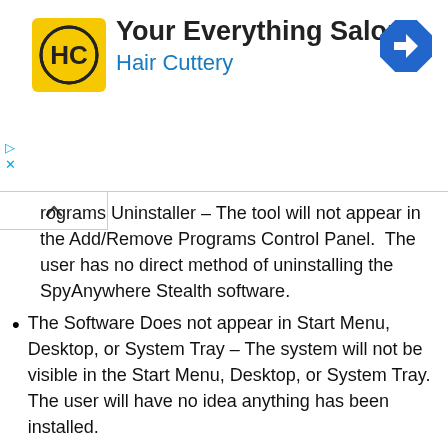[Figure (advertisement): Hair Cuttery 'Your Everything Salon' advertisement banner with yellow HC logo, blue navigation arrow icon, and small ad controls.]
Programs Uninstaller – The tool will not appear in the Add/Remove Programs Control Panel. The user has no direct method of uninstalling the SpyAnywhere Stealth software.
The Software Does not appear in Start Menu, Desktop, or System Tray – The system will not be visible in the Start Menu, Desktop, or System Tray. The user will have no idea anything has been installed.
Transparent Windows Startup for ALL Users – The program is configured to load on Windows startup (invisibly) for all users. It will even log non-